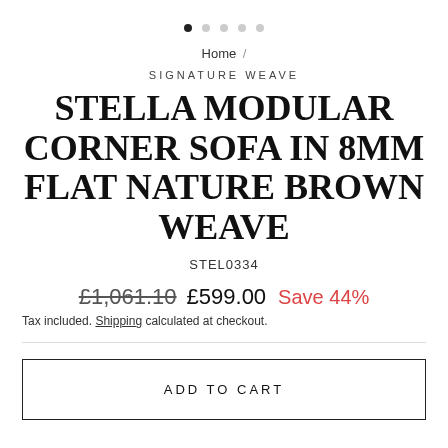[Figure (other): Pagination dots — 5 dots, first one filled/active]
Home /
SIGNATURE WEAVE
STELLA MODULAR CORNER SOFA IN 8MM FLAT NATURE BROWN WEAVE
STEL0334
£1,061.10  £599.00  Save 44%
Tax included. Shipping calculated at checkout.
ADD TO CART